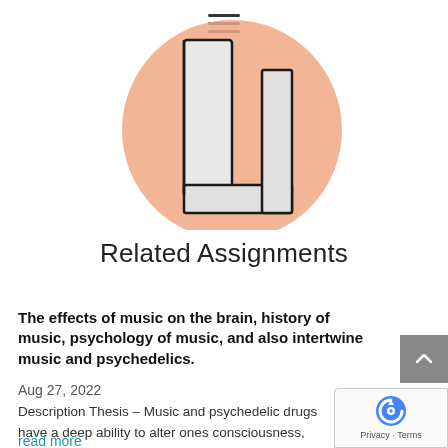[Figure (illustration): Illustration of a book or document with an open cover on a salmon/peach circular background, with a hamburger menu icon above it]
Related Assignments
The effects of music on the brain, history of music, psychology of music, and also intertwine music and psychedelics.
Aug 27, 2022
Description Thesis – Music and psychedelic drugs have a deep ability to alter ones consciousness, and have been used by humans for thousands...
read more